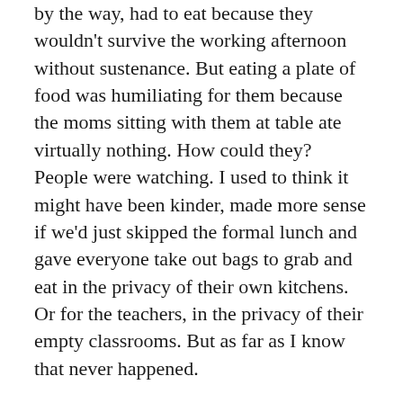by the way, had to eat because they wouldn't survive the working afternoon without sustenance. But eating a plate of food was humiliating for them because the moms sitting with them at table ate virtually nothing. How could they? People were watching. I used to think it might have been kinder, made more sense if we'd just skipped the formal lunch and gave everyone take out bags to grab and eat in the privacy of their own kitchens. Or for the teachers, in the privacy of their empty classrooms. But as far as I know that never happened.
But that kind of eating alone, furtively, guiltily, and shrouded in privacy, is the antithesis of the solitary lunch the girl in the restaurant was